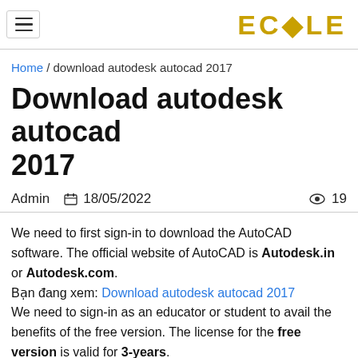ECOLE
Home / download autodesk autocad 2017
Download autodesk autocad 2017
Admin   18/05/2022   19
We need to first sign-in to download the AutoCAD software. The official website of AutoCAD is Autodesk.in or Autodesk.com. Bạn đang xem: Download autodesk autocad 2017 We need to sign-in as an educator or student to avail the benefits of the free version. The license for the free version is valid for 3-years.